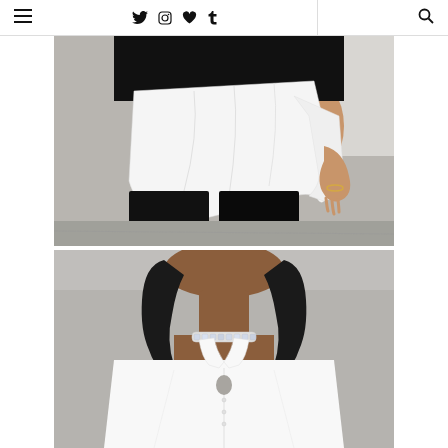Navigation bar with hamburger menu, social icons (Twitter, Instagram, Heart, Tumblr), and search icon
[Figure (photo): Close-up fashion photo showing a person wearing a white oversized shirt/top layered over a black leather top, paired with black wide-leg trousers. The white shirt has a distinctive asymmetric hem. The person has brown skin and wears a gold bracelet. Background is a light grey wall and pavement.]
[Figure (photo): Fashion photo showing the upper body and face (cropped at top) of a dark-skinned person with straight black shoulder-length hair, wearing a white button-down collared shirt and a rhinestone/crystal choker necklace. The shirt has a keyhole or cutout detail at the chest.]